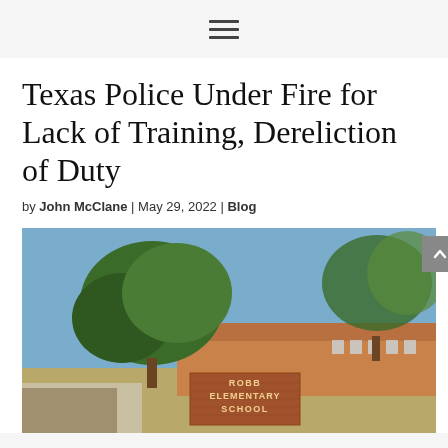≡
Texas Police Under Fire for Lack of Training, Dereliction of Duty
by John McClane | May 29, 2022 | Blog
[Figure (photo): Exterior photograph of Robb Elementary School with large trees in front, brick sign reading ROBB ELEMENTARY SCHOOL in foreground, blue sky background]